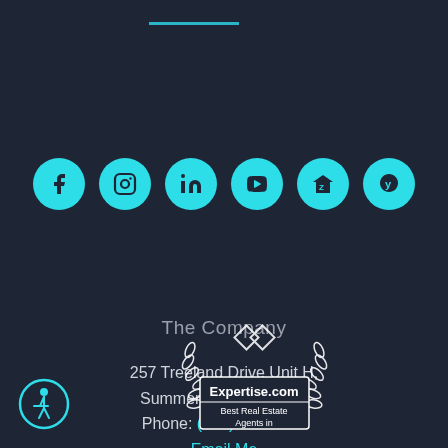[Figure (other): Horizontal teal decorative line near top]
[Figure (other): Row of six social media icon circles: Facebook, Instagram, LinkedIn, YouTube, Zillow, Yelp]
The Company
257 Treeland Drive Unit H,
Summerville, SC 29456
Phone: (864) 571-9563
Email Me
[Figure (logo): Expertise.com badge with laurel wreath and text: Best Real Estate Agents in]
[Figure (logo): Accessibility wheelchair icon circle (teal)]